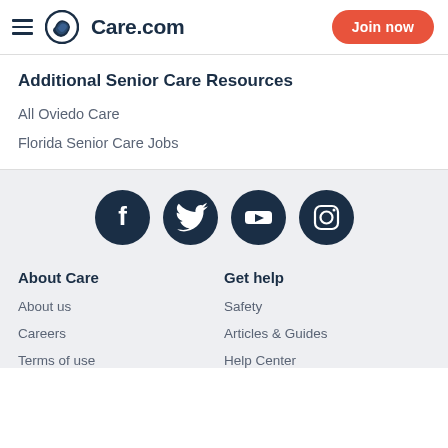Care.com — Join now
Additional Senior Care Resources
All Oviedo Care
Florida Senior Care Jobs
[Figure (illustration): Social media icons row: Facebook, Twitter, YouTube, Instagram — white icons on dark navy circles]
About Care
About us
Careers
Terms of use
Get help
Safety
Articles & Guides
Help Center